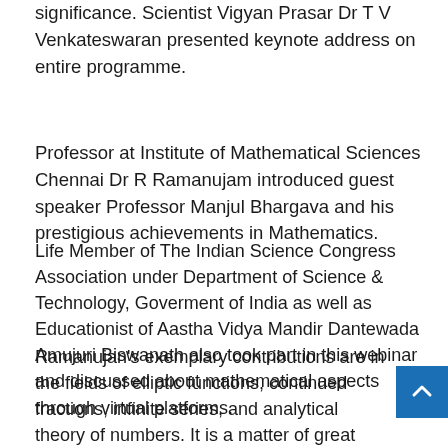significance. Scientist Vigyan Prasar Dr T V Venkateswaran presented keynote address on entire programme.
Professor at Institute of Mathematical Sciences Chennai Dr R Ramanujam introduced guest speaker Professor Manjul Bhargava and his prestigious achievements in Mathematics.
Life Member of The Indian Science Congress Association under Department of Science & Technology, Goverment of India as well as Educationist of Aastha Vidya Mandir Dantewada Amujuri Biswanath also took part in this webinar and discussed about mathematical aspects through virtual platforms.
Ramanujan's exemplary contributions are in the fields of elliptic functions, continued fractions, infinite series, and analytical theory of numbers. It is a matter of great inspiration and his contributions are a great achievement.